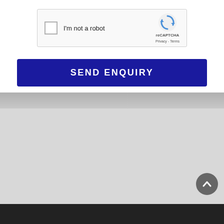[Figure (screenshot): reCAPTCHA checkbox with 'I'm not a robot' label and reCAPTCHA branding icon, Privacy and Terms links]
SEND ENQUIRY
[Figure (infographic): Promotional banner: 'Check This Car Now!' heading, green rounded button with checkmark and 'FREE Report' text, 'WRITTEN OFF?' and 'VALID ODOMETER READING?' labels at the bottom]